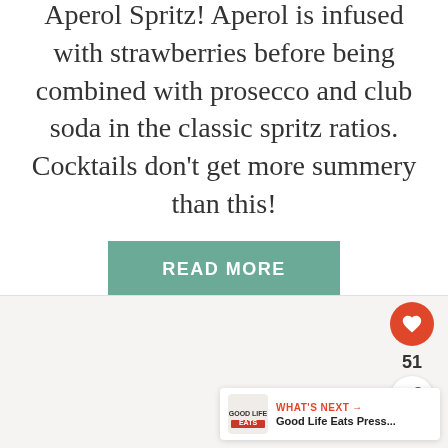Aperol Spritz! Aperol is infused with strawberries before being combined with prosecco and club soda in the classic spritz ratios. Cocktails don't get more summery than this!
READ MORE
[Figure (other): Social interaction panel with heart/like button showing count 51, and a share button]
WHAT'S NEXT → Good Life Eats Press...